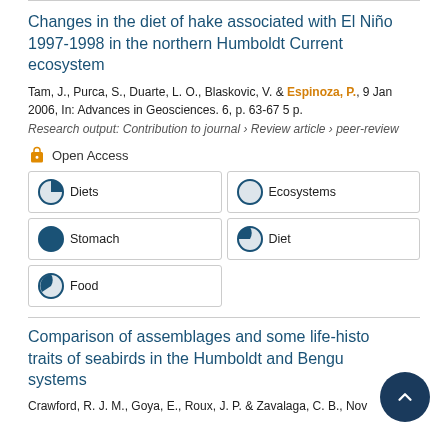Changes in the diet of hake associated with El Niño 1997-1998 in the northern Humboldt Current ecosystem
Tam, J., Purca, S., Duarte, L. O., Blaskovic, V. & Espinoza, P., 9 Jan 2006, In: Advances in Geosciences. 6, p. 63-67 5 p.
Research output: Contribution to journal › Review article › peer-review
Open Access
Diets
Ecosystems
Stomach
Diet
Food
Comparison of assemblages and some life-history traits of seabirds in the Humboldt and Benguela systems
Crawford, R. J. M., Goya, E., Roux, J. P. & Zavalaga, C. B., Nov